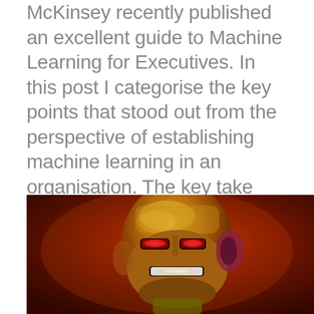McKinsey recently published an excellent guide to Machine Learning for Executives. In this post I categorise the key points that stood out from the perspective of establishing machine learning in an organisation. The key take away for me was that without leadership from the C Suite, machine learning will be limited to being a small part of existing operational processes.
[Figure (photo): Iron Man helmet figurine/toy with glowing red and white eye slits, photographed against a dark reddish-orange background]